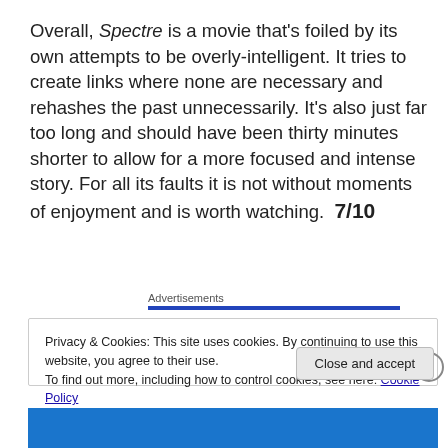Overall, Spectre is a movie that's foiled by its own attempts to be overly-intelligent. It tries to create links where none are necessary and rehashes the past unnecessarily. It's also just far too long and should have been thirty minutes shorter to allow for a more focused and intense story. For all its faults it is not without moments of enjoyment and is worth watching.  7/10
Advertisements
Privacy & Cookies: This site uses cookies. By continuing to use this website, you agree to their use.
To find out more, including how to control cookies, see here: Cookie Policy
Close and accept